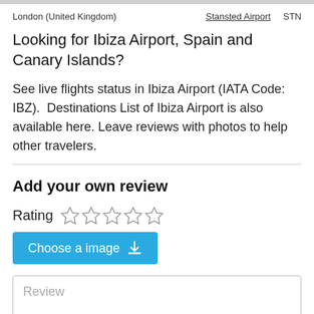London (United Kingdom)   Stansted Airport   STN
Looking for Ibiza Airport, Spain and Canary Islands?
See live flights status in Ibiza Airport (IATA Code: IBZ). Destinations List of Ibiza Airport is also available here. Leave reviews with photos to help other travelers.
Add your own review
Rating ☆☆☆☆☆
[Figure (other): Blue 'Choose a image' button with download icon]
[Figure (other): Review text input box with placeholder text 'Review']